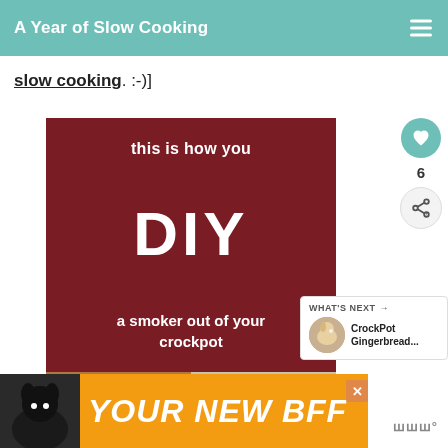A Year of Slow Cooking
slow cooking. :-)]
[Figure (illustration): Dark red card with white text reading 'this is how you DIY a smoker out of your crockpot', with a photo strip at the bottom showing food in a crockpot]
[Figure (infographic): Heart button with count 6 and share button on right sidebar]
WHAT'S NEXT → CrockPot Gingerbread...
[Figure (photo): Advertisement banner with dog and text YOUR NEW BFF on orange background]